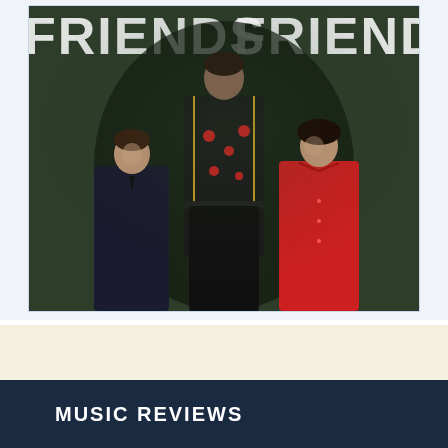[Figure (photo): Album cover photo showing three musicians posed against a dark green background. The central figure stands taller wearing a decorative black jacket with floral/patterned embroidery and yellow trim. On the left is a person wearing a dark navy top with a tie, and on the right is a person in a red shirt. Text at the top of the album cover reads 'FRIENDS' in large circular/bubble letters, partially visible on both left and right sides.]
MUSIC REVIEWS